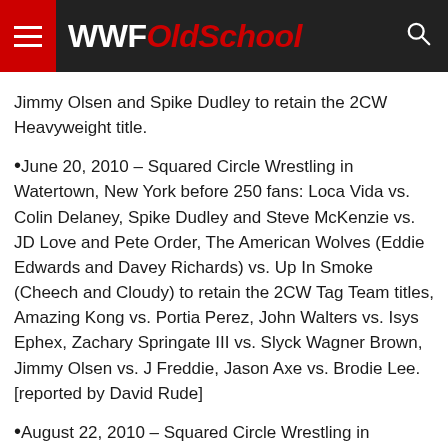WWFOldSchool
Jimmy Olsen and Spike Dudley to retain the 2CW Heavyweight title.
June 20, 2010 – Squared Circle Wrestling in Watertown, New York before 250 fans: Loca Vida vs. Colin Delaney, Spike Dudley and Steve McKenzie vs. JD Love and Pete Order, The American Wolves (Eddie Edwards and Davey Richards) vs. Up In Smoke (Cheech and Cloudy) to retain the 2CW Tag Team titles, Amazing Kong vs. Portia Perez, John Walters vs. Isys Ephex, Zachary Springate III vs. Slyck Wagner Brown, Jimmy Olsen vs. J Freddie, Jason Axe vs. Brodie Lee. [reported by David Rude]
August 22, 2010 – Squared Circle Wrestling in Watertown, New York before 500 fans: